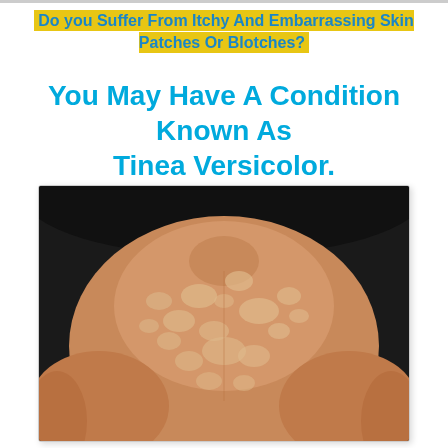Do you Suffer From Itchy And Embarrassing Skin Patches Or Blotches?
You May Have A Condition Known As Tinea Versicolor.
[Figure (photo): Close-up photo of a person's back showing light-colored patches and blotches typical of Tinea Versicolor skin condition, with dark background visible at top.]